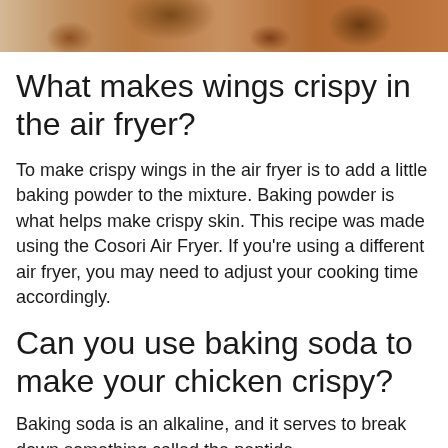[Figure (photo): Photo of crispy chicken wings on a white background, cropped at top]
What makes wings crispy in the air fryer?
To make crispy wings in the air fryer is to add a little baking powder to the mixture. Baking powder is what helps make crispy skin. This recipe was made using the Cosori Air Fryer. If you’re using a different air fryer, you may need to adjust your cooking time accordingly.
Can you use baking soda to make your chicken crispy?
Baking soda is an alkaline, and it serves to break down something called the peptide